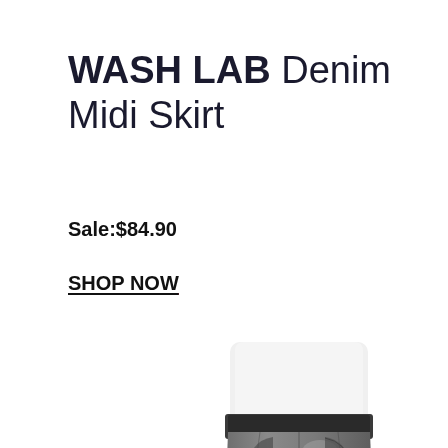WASH LAB Denim Midi Skirt
Sale:$84.90
SHOP NOW
[Figure (photo): Woman wearing a grey acid-wash denim midi skirt with a front slit, paired with a white top, hand in pocket, shown from waist down.]